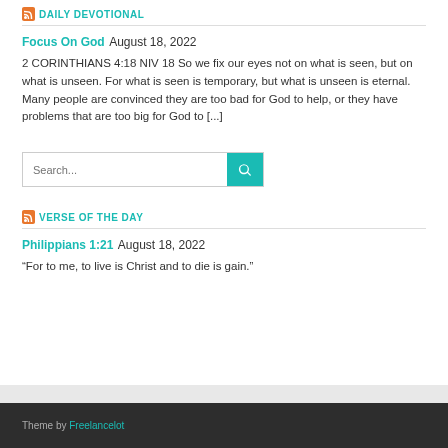DAILY DEVOTIONAL
Focus On God  August 18, 2022
2 CORINTHIANS 4:18 NIV 18 So we fix our eyes not on what is seen, but on what is unseen. For what is seen is temporary, but what is unseen is eternal. Many people are convinced they are too bad for God to help, or they have problems that are too big for God to [...]
Search...
VERSE OF THE DAY
Philippians 1:21  August 18, 2022
“For to me, to live is Christ and to die is gain.”
Theme by Freelancelot